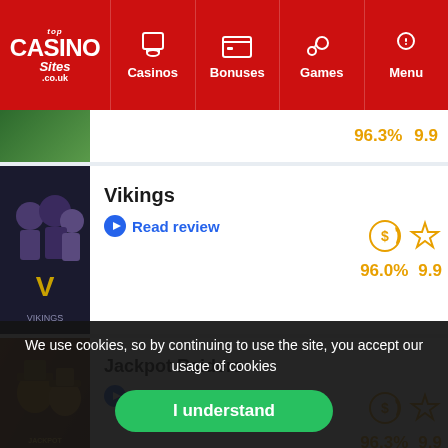Top Casino Sites .co.uk — Casinos | Bonuses | Games | Menu
[Figure (screenshot): Partial game card at top showing green thumbnail and ratings 96.3% 9.9 in orange]
Vikings
Read review
96.0%  9.9
Jackpot Raiders
Read review
96.3%  9.9
Follow us on social media
We use cookies, so by continuing to use the site, you accept our usage of cookies
I understand